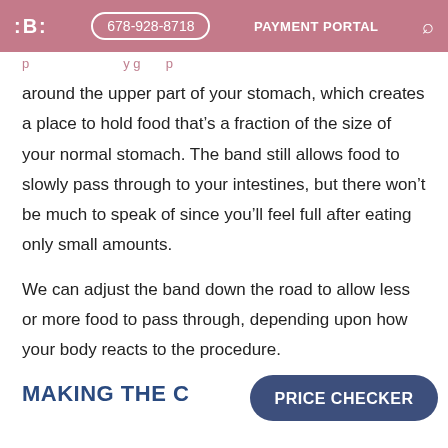IBI  678-928-8718  PAYMENT PORTAL  [search]
around the upper part of your stomach, which creates a place to hold food that's a fraction of the size of your normal stomach. The band still allows food to slowly pass through to your intestines, but there won't be much to speak of since you'll feel full after eating only small amounts.
We can adjust the band down the road to allow less or more food to pass through, depending upon how your body reacts to the procedure.
MAKING THE C
[Figure (other): PRICE CHECKER button overlay (dark blue pill-shaped button)]